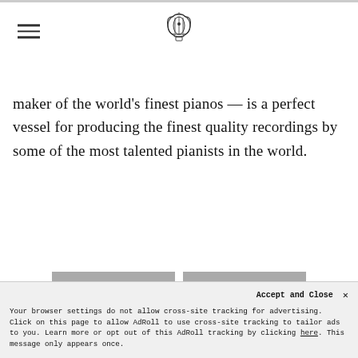[hamburger menu icon] [logo/lyre emblem]
maker of the world's finest pianos — is a perfect vessel for producing the finest quality recordings by some of the most talented pianists in the world.
[Figure (other): Share and Tweet social media buttons with Facebook and Twitter icons]
Accept and Close ×
Your browser settings do not allow cross-site tracking for advertising. Click on this page to allow AdRoll to use cross-site tracking to tailor ads to you. Learn more or opt out of this AdRoll tracking by clicking here. This message only appears once.